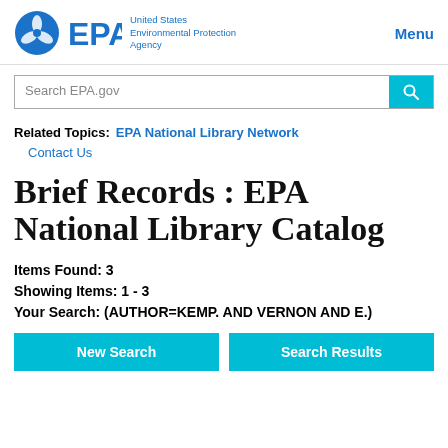[Figure (logo): EPA logo with blue circular emblem and text 'United States Environmental Protection Agency']
Menu
[Figure (screenshot): Search bar with placeholder text 'Search EPA.gov' and a teal search button]
Related Topics: EPA National Library Network
Contact Us
Brief Records : EPA National Library Catalog
Items Found: 3
Showing Items: 1 - 3
Your Search: (AUTHOR=KEMP. AND VERNON AND E.)
New Search   Search Results